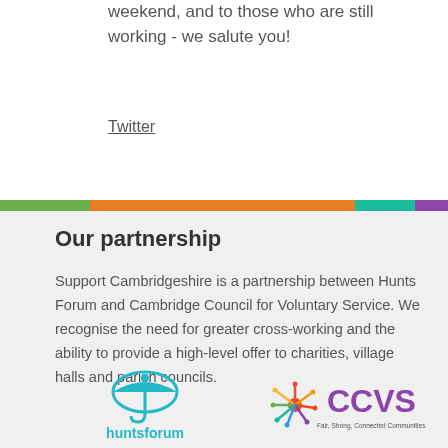weekend, and to those who are still working - we salute you!
Twitter
Our partnership
Support Cambridgeshire is a partnership between Hunts Forum and Cambridge Council for Voluntary Service. We recognise the need for greater cross-working and the ability to provide a high-level offer to charities, village halls and parish councils.
[Figure (logo): Hunts Forum logo - teal umbrella with person figure and 'huntsforum' text in teal]
[Figure (logo): CCVS logo - multicoloured figure with 'CCVS' in purple and tagline 'Fair, Strong, Connected Communities']